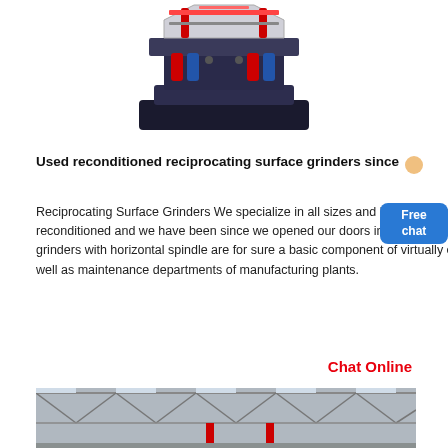[Figure (photo): Industrial surface grinding machine with red and dark blue/grey components, viewed from above-front angle]
Used reconditioned reciprocating surface grinders since
Reciprocating Surface Grinders We specialize in all sizes and brands of surface grinders used and reconditioned and we have been since we opened our doors in April of 1981. Reciprocating surface grinders with horizontal spindle are for sure a basic component of virtually every machine shop now as well as maintenance departments of manufacturing plants.
Chat Online
[Figure (photo): Interior of a large industrial factory or warehouse with steel roof trusses and red equipment visible]